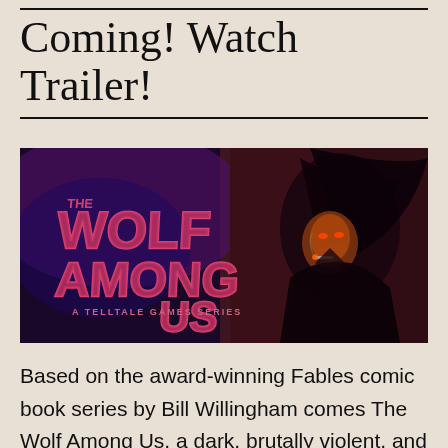Coming! Watch Trailer!
[Figure (illustration): The Wolf Among Us – A Telltale Games Series banner image showing a dark, neon-lit scene with a stylized wolf character and game logo in pink/magenta on a purple and dark background.]
Based on the award-winning Fables comic book series by Bill Willingham comes The Wolf Among Us, a dark, brutally violent, and mature take on the characters and creatures of fairytale and legend. Werewolf fans not